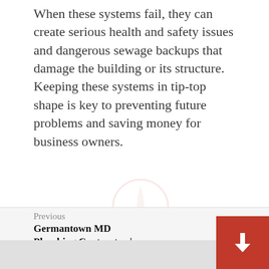When these systems fail, they can create serious health and safety issues and dangerous sewage backups that damage the building or its structure. Keeping these systems in tip-top shape is key to preventing future problems and saving money for business owners.
Previous
Germantown MD Plumbing Contractor | Drain service/updated clogged water heater
Next
Plumbing Fixtures Market Analysis by Trends, Size, Share, Company Overview, Growth and Forecast by 2028 | Plumber's Choice, Oatey, Elmdor, Zurn, Weld-On, etc.